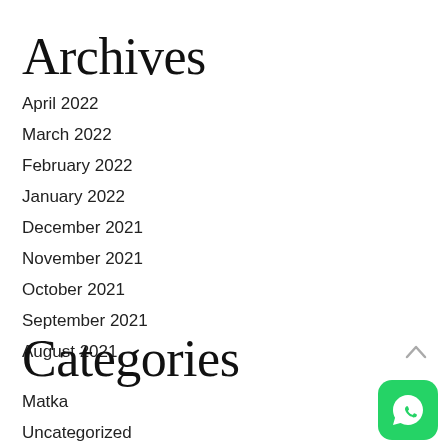Archives
April 2022
March 2022
February 2022
January 2022
December 2021
November 2021
October 2021
September 2021
August 2021
Categories
Matka
Uncategorized